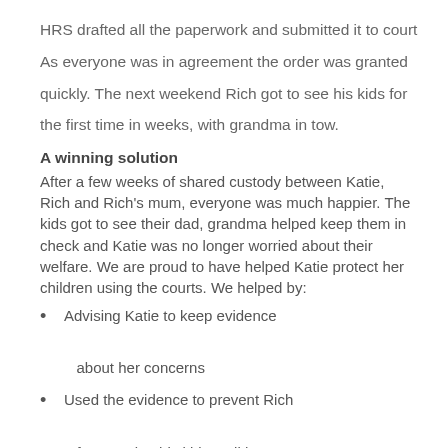HRS drafted all the paperwork and submitted it to court As everyone was in agreement the order was granted quickly. The next weekend Rich got to see his kids for the first time in weeks, with grandma in tow.
A winning solution
After a few weeks of shared custody between Katie, Rich and Rich's mum, everyone was much happier. The kids got to see their dad, grandma helped keep them in check and Katie was no longer worried about their welfare. We are proud to have helped Katie protect her children using the courts. We helped by:
Advising Katie to keep evidence about her concerns
Used the evidence to prevent Rich from seeing his kids until he